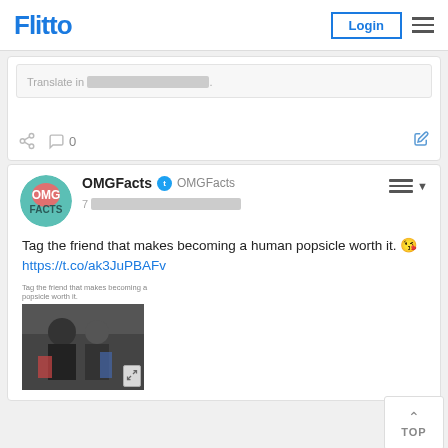Flitto | Login
Translate in [blurred text].
0 (comment count)
OMGFacts @OMGFacts 7 [blurred time]
Tag the friend that makes becoming a human popsicle worth it. 😘 https://t.co/ak3JuPBAFv
[Figure (screenshot): Thumbnail image of people with caption text above]